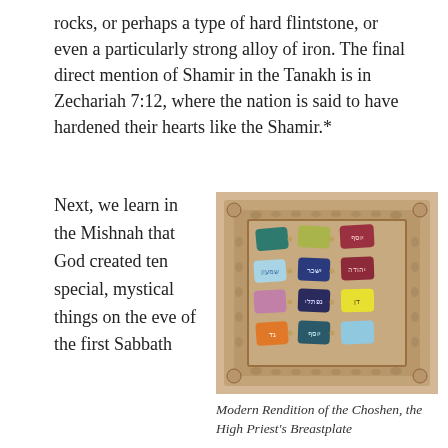rocks, or perhaps a type of hard flintstone, or even a particularly strong alloy of iron. The final direct mention of Shamir in the Tanakh is in Zechariah 7:12, where the nation is said to have hardened their hearts like the Shamir.*
Next, we learn in the Mishnah that God created ten special, mystical things on the eve of the first Sabbath
[Figure (photo): Modern rendition of the Choshen (High Priest's Breastplate), a decorative wooden board with 12 colorful gemstone tiles arranged in a 3x4 grid, framed by ornate carved scrollwork]
Modern Rendition of the Choshen, the High Priest's Breastplate